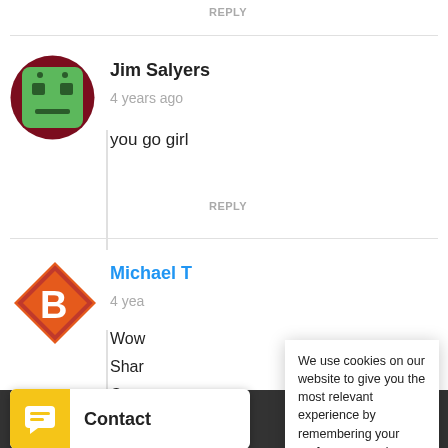REPLY
[Figure (illustration): Robot/avatar icon with dark red circular border, green robot face with square eyes]
Jim Salyers
4 years ago
you go girl
REPLY
[Figure (logo): Orange diamond-shaped B logo avatar]
Michael T
4 yea
Wow
Shar
Carv
REPL
We use cookies on our website to give you the most relevant experience by remembering your preferences and repeat visits. By clicking “Accept”, you consent to the use of ALL the cookies.
Do not sell my personal information.
Cookie settings
ACCEPT
Leave
[Figure (illustration): Yellow chat widget with speech bubble icon]
Contact
Making The Mad Hati